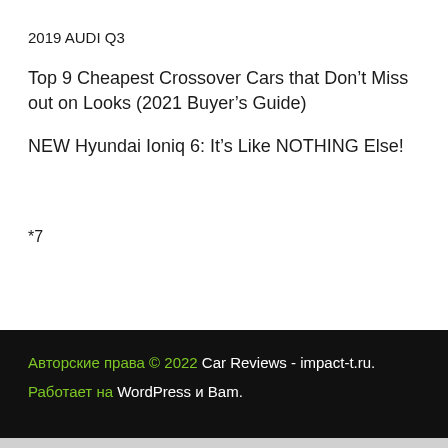2019 AUDI Q3
Top 9 Cheapest Crossover Cars that Don’t Miss out on Looks (2021 Buyer’s Guide)
NEW Hyundai Ioniq 6: It’s Like NOTHING Else!
*7
Авторские права © 2022 Car Reviews - impact-t.ru. Работает на WordPress и Bam.